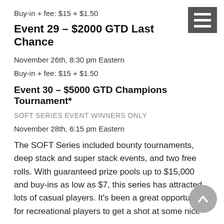Buy-in + fee: $15 + $1.50
Event 29 – $2000 GTD Last Chance
November 26th, 8:30 pm Eastern
Buy-in + fee: $15 + $1.50
Event 30 – $5000 GTD Champions Tournament*
SOFT SERIES EVENT WINNERS ONLY
November 28th, 6:15 pm Eastern
The SOFT Series included bounty tournaments, deep stack and super stack events, and two free rolls. With guaranteed prize pools up to $15,000 and buy-ins as low as $7, this series has attracted lots of casual players. It's been a great opportunity for recreational players to get a shot at some nice
[Figure (other): Hamburger menu icon in dark gray square, top right corner]
[Figure (other): Scroll-to-top circular button, gray, bottom right corner]